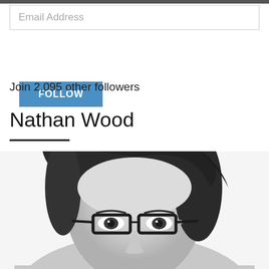Email Address
FOLLOW
Join 2,095 other followers
Nathan Wood
[Figure (photo): Black and white portrait photo of Nathan Wood, a man with dark hair and glasses, shown from approximately the shoulders up, cropped at the bottom of the page.]